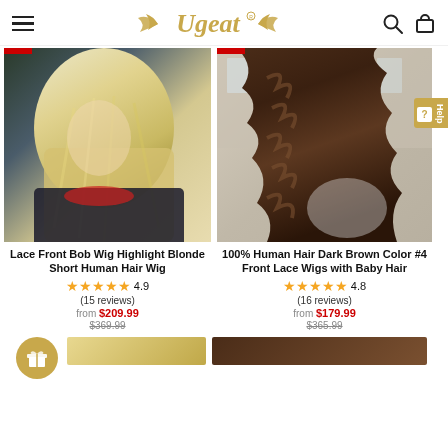Ugeat — navigation header with hamburger menu, logo, search and cart icons
[Figure (photo): Product photo of a woman with a lace front bob wig in highlight blonde short human hair style, viewed from the side]
Lace Front Bob Wig Highlight Blonde Short Human Hair Wig
4.9 (15 reviews) from $209.99 $369.99
[Figure (photo): Product photo of a woman with dark brown wavy long hair wig, viewed from behind in a salon setting]
100% Human Hair Dark Brown Color #4 Front Lace Wigs with Baby Hair
4.8 (16 reviews) from $179.99 $365.99